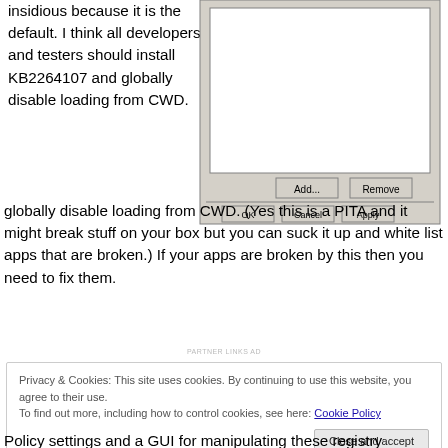insidious because it is the default. I think all developers and testers should install KB2264107 and globally disable loading from CWD. (Yes this is a PITA and it might break stuff on your box but you can suck it up and white list apps that are broken.) If your apps are broken by this then you need to fix them.
[Figure (screenshot): Windows dialog box showing a list with Add... and Remove... buttons, and OK, Cancel, Apply buttons at the bottom]
PARTNER LINKS AD
Privacy & Cookies: This site uses cookies. By continuing to use this website, you agree to their use.
To find out more, including how to control cookies, see here: Cookie Policy
Close and accept
Policy settings and a GUI for manipulating these registry